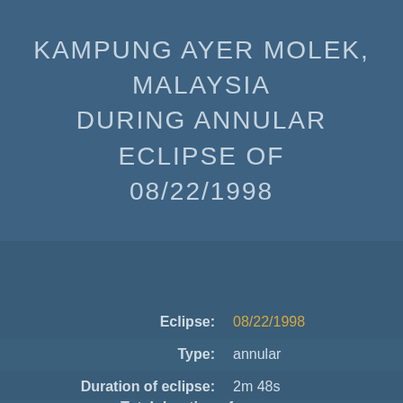KAMPUNG AYER MOLEK, MALAYSIA DURING ANNULAR ECLIPSE OF 08/22/1998
Eclipse: 08/22/1998
Type: annular
Duration of eclipse: 2m 48s
Total duration of annularity: 2m 0 0...